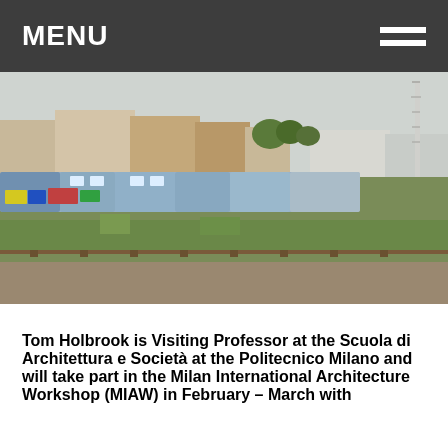MENU
[Figure (photo): Railway yard with parked trains covered in graffiti, overgrown grass and tracks in the foreground, residential and modern buildings in the background, communication tower on the right, overcast sky.]
Tom Holbrook is Visiting Professor at the Scuola di Architettura e Società at the Politecnico Milano and will take part in the Milan International Architecture Workshop (MIAW) in February – March with